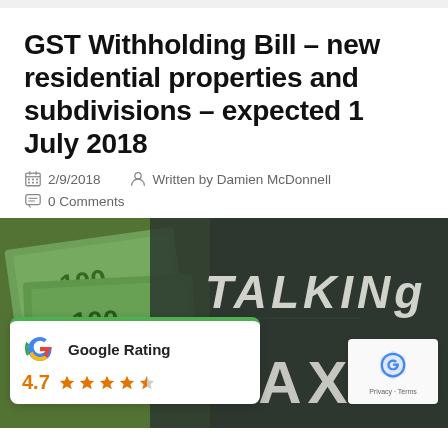GST Withholding Bill – new residential properties and subdivisions – expected 1 July 2018
2/9/2018   Written by Damien McDonnell
0 Comments
[Figure (photo): Photo of Australian $100 banknotes fanned out on left, with a chalkboard on the right showing 'TALKING TAX' written in chalk. Overlaid is a Google Rating badge showing 4.7 stars and a reCAPTCHA badge.]